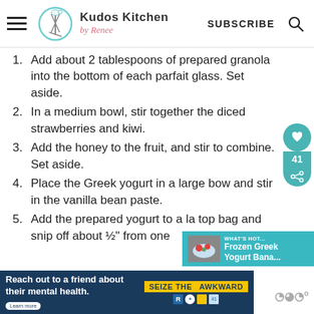Kudos Kitchen by Renee — SUBSCRIBE
Add about 2 tablespoons of prepared granola into the bottom of each parfait glass. Set aside.
In a medium bowl, stir together the diced strawberries and kiwi.
Add the honey to the fruit, and stir to combine. Set aside.
Place the Greek yogurt in a large bowl and stir in the vanilla bean paste.
Add the prepared yogurt to a large zip top bag and snip off about ½" from one
[Figure (other): Social sharing widget with heart/save icon showing 41 saves, teal colored]
[Figure (other): What's Hot promotional popup showing Frozen Greek Yogurt Bana...]
[Figure (other): Ad banner: Reach out to a friend about their mental health. Seize The Awkward. Learn more.]